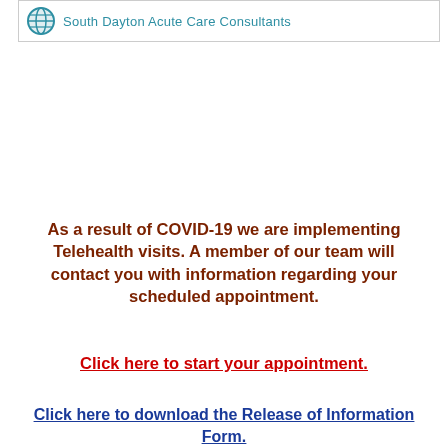South Dayton Acute Care Consultants
As a result of COVID-19 we are implementing Telehealth visits. A member of our team will contact you with information regarding your scheduled appointment.
Click here to start your appointment.
Click here to download the Release of Information Form.